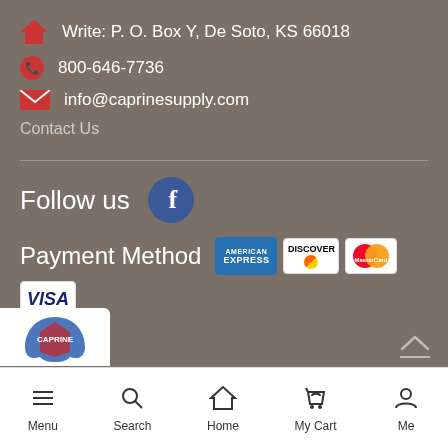Write: P. O. Box Y, De Soto, KS 66018
800-646-7736
info@caprinesupply.com
Contact Us
Follow us
Payment Method
[Figure (logo): Partial logo visible at bottom left, white background with blue/red icon]
Menu | Search | Home | My Cart | Me